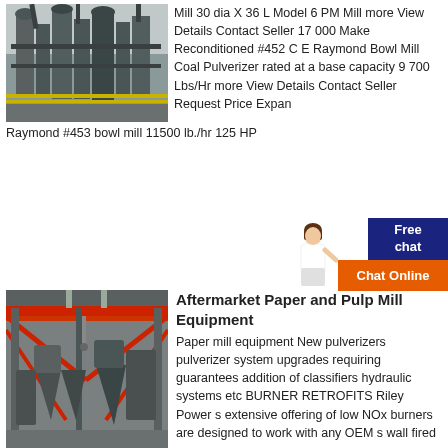[Figure (photo): Industrial mill equipment with large pipes and structures in an outdoor factory setting]
Mill 30 dia X 36 L Model 6 PM Mill more View Details Contact Seller 17 000 Make Reconditioned #452 C E Raymond Bowl Mill Coal Pulverizer rated at a base capacity 9 700 Lbs/Hr more View Details Contact Seller Request Price Expand Raymond #453 bowl mill 11500 lb./hr 125 HP
[Figure (photo): Interior of large industrial warehouse with red overhead crane and mill equipment including cone-shaped hoppers]
Aftermarket Paper and Pulp Mill Equipment
Paper mill equipment New pulverizers pulverizer system upgrades requiring guarantees addition of classifiers hydraulic systems etc BURNER RETROFITS Riley Power s extensive offering of low NOx burners are designed to work with any OEM s wall fired or